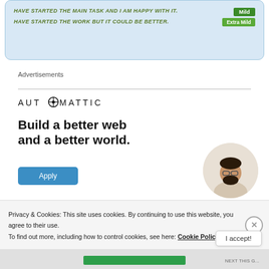[Figure (screenshot): Top banner with light blue background showing italic bold green text: 'HAVE STARTED THE MAIN TASK AND I AM HAPPY WITH IT.' and 'HAVE STARTED THE WORK BUT IT COULD BE BETTER.' with Mild and Extra Mild green badge labels on the right.]
Advertisements
[Figure (logo): AUTOMATTIC logo in uppercase with a stylized O containing a compass/target symbol]
Build a better web and a better world.
[Figure (photo): Circular cropped photo of a person (man with beard and glasses) against a light background, positioned to the right of the ad text]
[Figure (screenshot): Blue Apply button]
Privacy & Cookies: This site uses cookies. By continuing to use this website, you agree to their use.
To find out more, including how to control cookies, see here: Cookie Policy
[Figure (screenshot): I accept! button and X close button on the cookie consent bar]